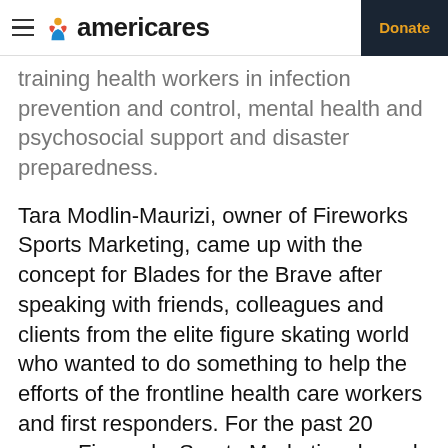americares | Donate
training health workers in infection prevention and control, mental health and psychosocial support and disaster preparedness.
Tara Modlin-Maurizi, owner of Fireworks Sports Marketing, came up with the concept for Blades for the Brave after speaking with friends, colleagues and clients from the elite figure skating world who wanted to do something to help the efforts of the frontline health care workers and first responders. For the past 20 years Fireworks Sports Marketing, based in Ridgewood, N.J., has represented figure skaters and Olympic athletes and has produced worldwide events.